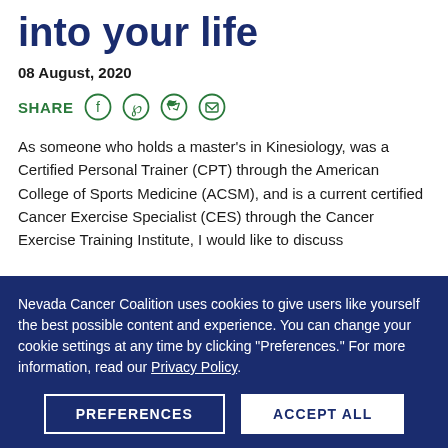into your life
08 August, 2020
SHARE
As someone who holds a master's in Kinesiology, was a Certified Personal Trainer (CPT) through the American College of Sports Medicine (ACSM), and is a current certified Cancer Exercise Specialist (CES) through the Cancer Exercise Training Institute, I would like to discuss
Nevada Cancer Coalition uses cookies to give users like yourself the best possible content and experience. You can change your cookie settings at any time by clicking "Preferences." For more information, read our Privacy Policy.
PREFERENCES
ACCEPT ALL